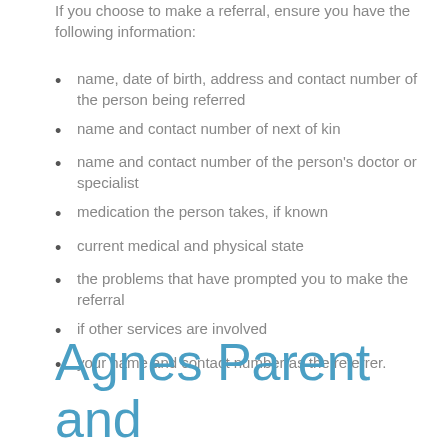If you choose to make a referral, ensure you have the following information:
name, date of birth, address and contact number of the person being referred
name and contact number of next of kin
name and contact number of the person's doctor or specialist
medication the person takes, if known
current medical and physical state
the problems that have prompted you to make the referral
if other services are involved
your name and contact number as the referrer.
Agnes Parent and